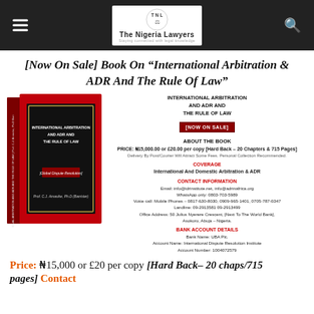The Nigeria Lawyers
[Now On Sale] Book On "International Arbitration & ADR And The Rule Of Law"
[Figure (photo): Book cover of International Arbitration And ADR And The Rule Of Law by Prof. C.J. Amasike, red hardback binder]
INTERNATIONAL ARBITRATION AND ADR AND THE RULE OF LAW [NOW ON SALE]
ABOUT THE BOOK
PRICE: ₦15,000.00 or £20.00 per copy [Hard Back – 20 Chapters & 715 Pages]
Delivery By Post/Courier Will Attract Some Fees. Personal Collection Recommended.
COVERAGE
International And Domestic Arbitration & ADR
CONTACT INFORMATION
Email: info@idrinstitute.net, info@adrinafrica.org
WhatsApp only: 0803-703-5989
Voice call: Mobile Phones – 0817-630-8030, 0909-965-1401, 0705-787-0347
Landline: 09-2913581 09-2913499
Office Address: 50 Julius Nyerere Crescent, [Next To The World Bank], Asokoro, Abuja – Nigeria.
BANK ACCOUNT DETAILS
Bank Name: UBA Plc.
Account Name: International Dispute Resolution Institute
Account Number: 1004072579
Price: ₦15,000 or £20 per copy [Hard Back– 20 chaps/715 pages] Contact